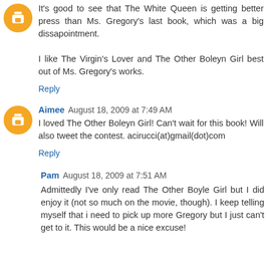It's good to see that The White Queen is getting better press than Ms. Gregory's last book, which was a big dissapointment.

I like The Virgin's Lover and The Other Boleyn Girl best out of Ms. Gregory's works.
Reply
Aimee  August 18, 2009 at 7:49 AM
I loved The Other Boleyn Girl! Can't wait for this book! Will also tweet the contest. acirucci(at)gmail(dot)com
Reply
Pam  August 18, 2009 at 7:51 AM
Admittedly I've only read The Other Boyle Girl but I did enjoy it (not so much on the movie, though). I keep telling myself that i need to pick up more Gregory but I just can't get to it. This would be a nice excuse!